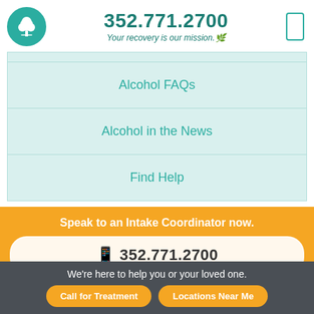[Figure (logo): Teal circular logo with white tree icon]
352.771.2700
Your recovery is our mission.🌿
Alcohol FAQs
Alcohol in the News
Find Help
Speak to an Intake Coordinator now.
📱 352.771.2700
We're here to help you or your loved one.
Call for Treatment
Locations Near Me